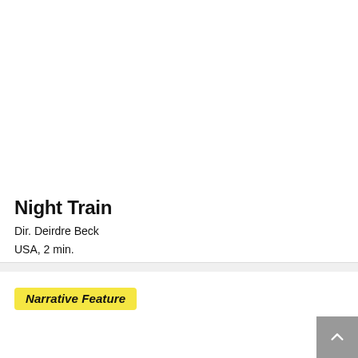Night Train
Dir. Deirdre Beck
USA, 2 min.
Narrative Feature